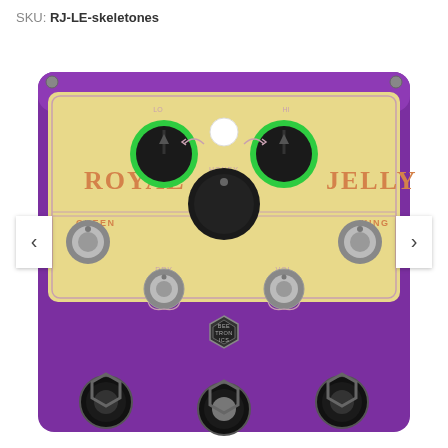SKU: RJ-LE-skeletones
[Figure (photo): Beetronics Royal Jelly guitar effects pedal in purple finish with gold faceplate. Features knobs labeled QUEEN and KING on sides, HONEY center knob, with LO and HI knobs, DRY and VOL knobs, and three footswitches at bottom. Beetronics hexagonal logo badge in center. Navigation arrows on left and right sides of image.]